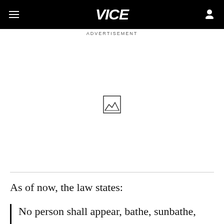VICE
ADVERTISEMENT
[Figure (other): Advertisement placeholder image icon]
As of now, the law states:
No person shall appear, bathe, sunbathe,